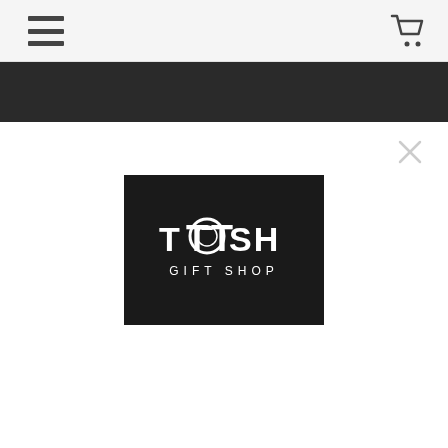[Figure (screenshot): Top navigation bar with hamburger menu icon on the left and shopping cart icon on the right, on a light gray background]
[Figure (screenshot): Dark/black navigation bar with an X close button on the right side]
[Figure (logo): TOSH GIFT SHOP logo on a black background. Text reads TOSH in large letters with a stylized O containing a circular design, and GIFT SHOP in smaller letters below.]